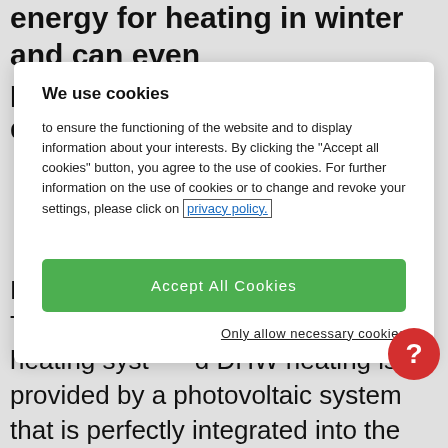energy for heating in winter and can even provide cooling in summer, depending on
We use cookies
to ensure the functioning of the website and to display information about your interests. By clicking the "Accept all cookies" button, you agree to the use of cookies. For further information on the use of cookies or to change and revoke your settings, please click on privacy policy.
Accept All Cookies
Only allow necessary cookies
Heat pumps are extremely efficient. The electricity required for the heating system and DHW heating is provided by a photovoltaic system that is perfectly integrated into the